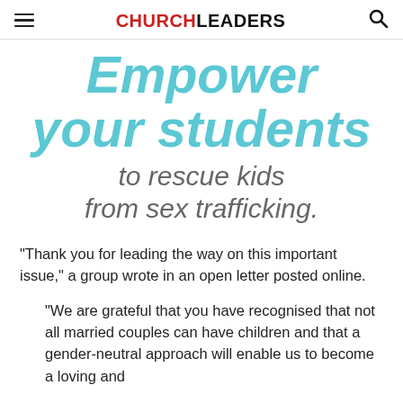CHURCHLEADERS
[Figure (infographic): Promotional banner: Empower your students to rescue kids from sex trafficking.]
“Thank you for leading the way on this important issue,” a group wrote in an open letter posted online.
“We are grateful that you have recognised that not all married couples can have children and that a gender-neutral approach will enable us to become a loving and